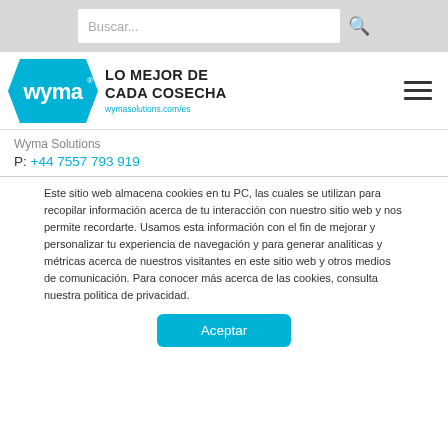Buscar...
[Figure (logo): Wyma Solutions logo with hexagon shape and tagline 'LO MEJOR DE CADA COSECHA wymasolutions.com/es']
Wyma Solutions
P: +44 7557 793 919
Este sitio web almacena cookies en tu PC, las cuales se utilizan para recopilar información acerca de tu interacción con nuestro sitio web y nos permite recordarte. Usamos esta información con el fin de mejorar y personalizar tu experiencia de navegación y para generar analiticas y métricas acerca de nuestros visitantes en este sitio web y otros medios de comunicación. Para conocer más acerca de las cookies, consulta nuestra politica de privacidad.
Aceptar